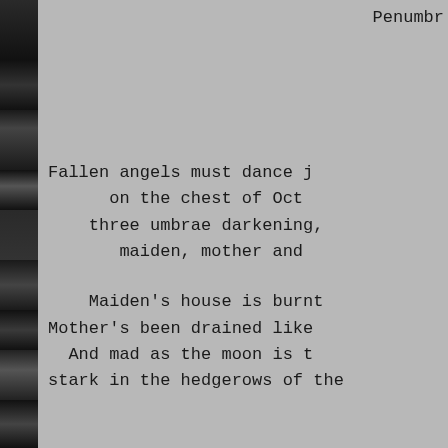Penumbr
Fallen angels must dance j
on the chest of Oct
three umbrae darkening,
maiden, mother and

Maiden's house is burnt
Mother's been drained like
And mad as the moon is t
stark in the hedgerows of the